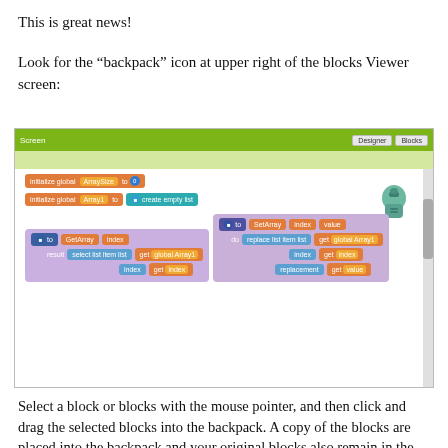This is great news!
Look for the “backpack” icon at upper right of the blocks Viewer screen:
[Figure (screenshot): MIT App Inventor Blocks editor screenshot showing orange and blue programming blocks with a backpack icon in the upper right corner. The toolbar shows 'Screen', 'Designer', and 'Blocks' buttons. Code blocks show initialize global ArraySize, initialize global Array1, GetArray procedure, and SetArray procedure.]
Select a block or blocks with the mouse pointer, and then click and drag the selected blocks into the backpack. A copy of the blocks are placed into the backpack and your original blocks also remain in the editing window.